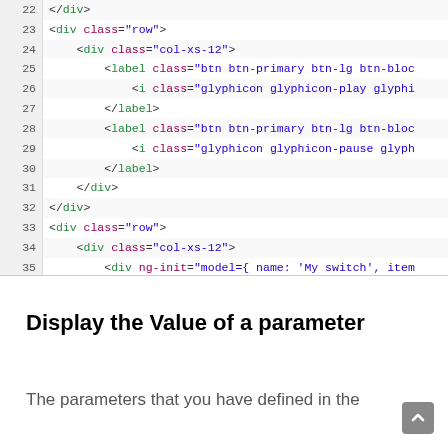[Figure (screenshot): Code editor screenshot showing HTML lines 22-39 with syntax highlighting. Line numbers on left, code on right. Tags in green, attribute names in purple, attribute values in dark blue.]
Display the Value of a parameter
The parameters that you have defined in the